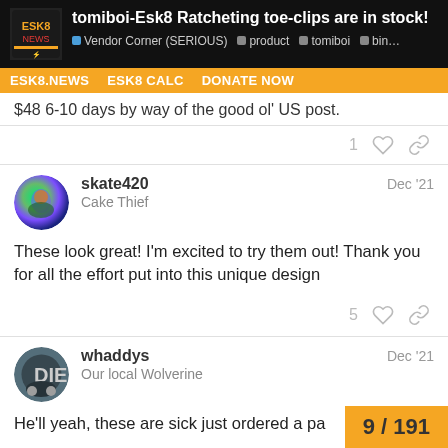tomiboi-Esk8 Ratcheting toe-clips are in stock! | Vendor Corner (SERIOUS) | product | tomiboi | bin...
ESK8.NEWS  ESK8 CALC  DONATE NOW
$48 6-10 days by way of the good ol' US post.
skate420  Dec '21  Cake Thief
These look great! I'm excited to try them out! Thank you for all the effort put into this unique design
whaddys  Dec '21  Our local Wolverine
He'll yeah, these are sick just ordered a pa
9 / 191